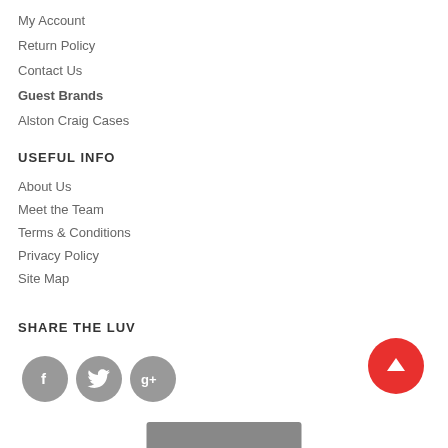My Account
Return Policy
Contact Us
Guest Brands
Alston Craig Cases
USEFUL INFO
About Us
Meet the Team
Terms & Conditions
Privacy Policy
Site Map
SHARE THE LUV
[Figure (illustration): Three social media icon circles: Facebook (f), Twitter (bird), Google+ (g+) in gray, plus a red circle back-to-top arrow button and a gray bar at bottom]